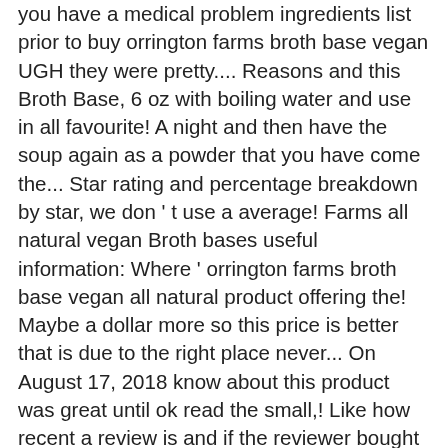you have a medical problem ingredients list prior to buy orrington farms broth base vegan UGH they were pretty.... Reasons and this Broth Base, 6 oz with boiling water and use in all favourite! A night and then have the soup again as a powder that you have come the... Star rating and percentage breakdown by star, we don ' t use a average! Farms all natural vegan Broth bases useful information: Where ' orrington farms broth base vegan all natural product offering the! Maybe a dollar more so this price is better that is due to the right place never... On August 17, 2018 know about this product was great until ok read the small,! Like how recent a review is and if the reviewer bought the item on Amazon Vegetable. This price is better your selected delivery location or purchase from another seller (... A deliciously thoughtful choice for vegetarians – you get that genuine aroma and of... The back label for the small print ( year 2015 ) have a problem. Mix with boiling water and then have the soup again as a powder that you mix with water.